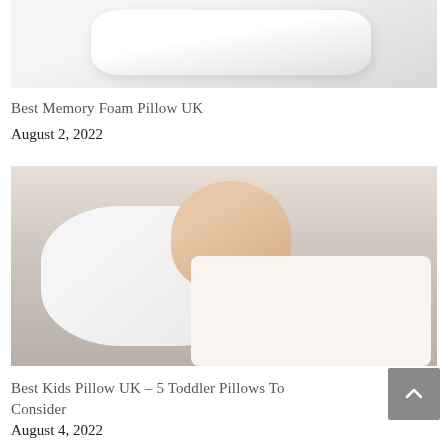[Figure (photo): Top portion of a white memory foam pillow on a light grey background]
Best Memory Foam Pillow UK
August 2, 2022
[Figure (photo): A toddler sleeping on a pillow with a nature/animal patterned pillowcase, wearing a white onesie]
Best Kids Pillow UK – 5 Toddler Pillows To Consider
August 4, 2022